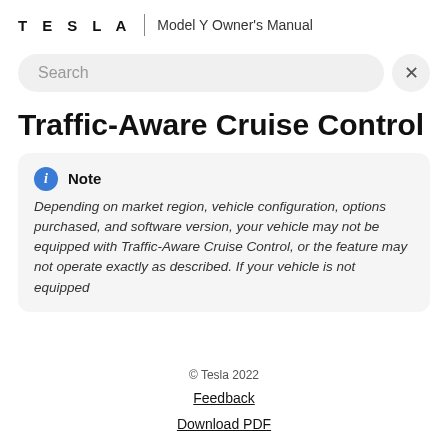TESLA | Model Y Owner's Manual
[Figure (other): Search bar with placeholder text 'Search' and an X close button on the right]
Traffic-Aware Cruise Control
Note
Depending on market region, vehicle configuration, options purchased, and software version, your vehicle may not be equipped with Traffic-Aware Cruise Control, or the feature may not operate exactly as described. If your vehicle is not equipped
© Tesla 2022
Feedback
Download PDF